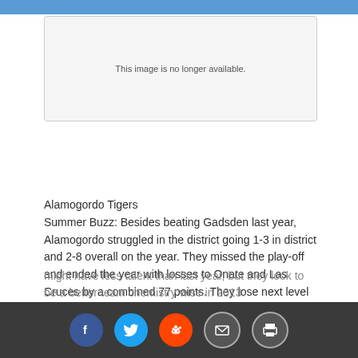[Figure (other): This image is no longer available.]
Alamogordo Tigers
Summer Buzz: Besides beating Gadsden last year, Alamogordo struggled in the district going 1-3 in district and 2-8 overall on the year. They missed the play-off and ended the year with losses to Onate and Las Cruces by a combined 77 points. They lose next level prospect quarterback in Kellen Hester which looks to be their toughest player to replace on offense. Alamogordo always has speed and this year their speed back looks to be Michael Luna. Other players to watch for include Nate Martin, Tanner Graham, and Justin Phillips. They might have less talent than last year, but they look to be a better team chemistry wise in 2013.
Social share buttons: Facebook, Twitter, Reddit, Email, Print